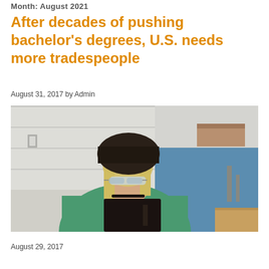Month: August 2021
After decades of pushing bachelor's degrees, U.S. needs more tradespeople
August 31, 2017 by Admin
[Figure (photo): Young woman wearing a welding helmet, safety glasses, and green jacket holding a welding shield in a workshop/classroom setting]
August 29, 2017